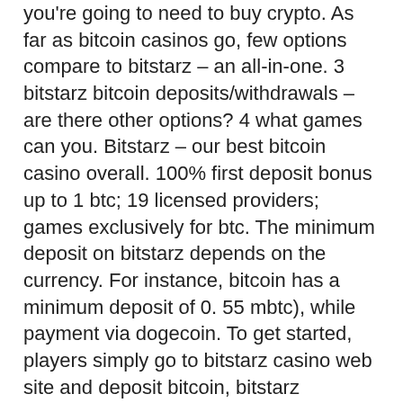you're going to need to buy crypto. As far as bitcoin casinos go, few options compare to bitstarz – an all-in-one. 3 bitstarz bitcoin deposits/withdrawals – are there other options? 4 what games can you. Bitstarz – our best bitcoin casino overall. 100% first deposit bonus up to 1 btc; 19 licensed providers; games exclusively for btc. The minimum deposit on bitstarz depends on the currency. For instance, bitcoin has a minimum deposit of 0. 55 mbtc), while payment via dogecoin. To get started, players simply go to bitstarz casino web site and deposit bitcoin, bitstarz промокод при регистрации. For cryptocurrency, they offer a fantastic 300% up to $1500 plus a further 150% up to $750 on the next 8 deposits. They also are currently. List of all payments and available currencies you can use to deposit or withdraw funds at bitstarz, the first bitcoin &amp; real money online casino. Bitstarz